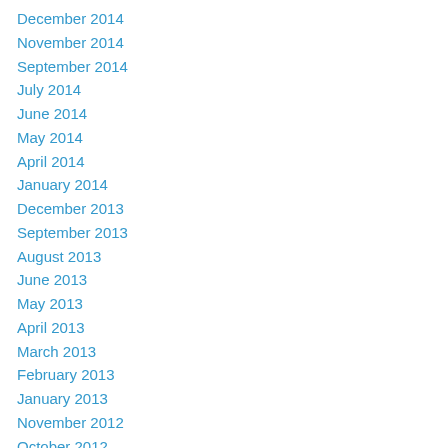December 2014
November 2014
September 2014
July 2014
June 2014
May 2014
April 2014
January 2014
December 2013
September 2013
August 2013
June 2013
May 2013
April 2013
March 2013
February 2013
January 2013
November 2012
October 2012
September 2012